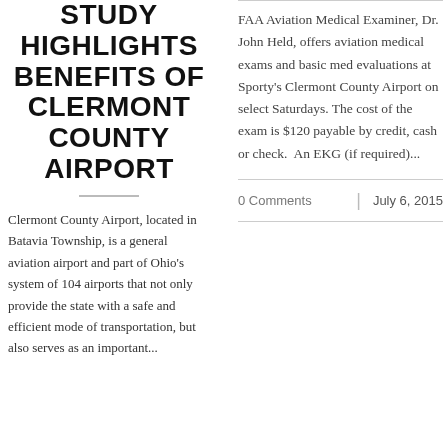STUDY HIGHLIGHTS BENEFITS OF CLERMONT COUNTY AIRPORT
Clermont County Airport, located in Batavia Township, is a general aviation airport and part of Ohio's system of 104 airports that not only provide the state with a safe and efficient mode of transportation, but also serves as an important...
FAA Aviation Medical Examiner, Dr. John Held, offers aviation medical exams and basic med evaluations at Sporty's Clermont County Airport on select Saturdays. The cost of the exam is $120 payable by credit, cash or check. An EKG (if required)...
0 Comments  |  July 6, 2015